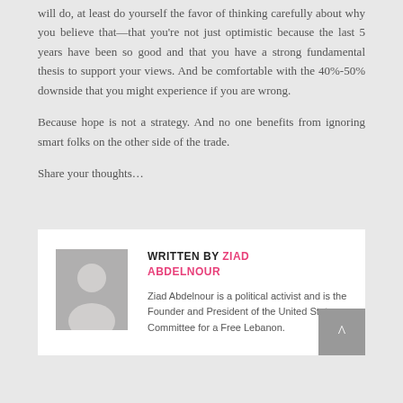will do, at least do yourself the favor of thinking carefully about why you believe that—that you're not just optimistic because the last 5 years have been so good and that you have a strong fundamental thesis to support your views. And be comfortable with the 40%-50% downside that you might experience if you are wrong.
Because hope is not a strategy. And no one benefits from ignoring smart folks on the other side of the trade.
Share your thoughts…
WRITTEN BY ZIAD ABDELNOUR
[Figure (photo): Generic grey avatar/silhouette placeholder image for author photo]
Ziad Abdelnour is a political activist and is the Founder and President of the United States Committee for a Free Lebanon.